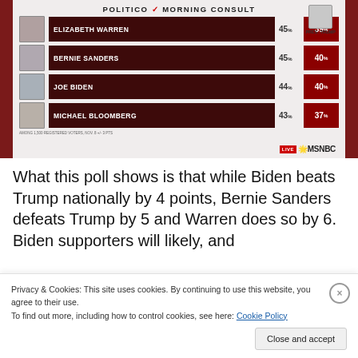[Figure (bar-chart): POLITICO / MORNING CONSULT]
What this poll shows is that while Biden beats Trump nationally by 4 points, Bernie Sanders defeats Trump by 5 and Warren does so by 6. Biden supporters will likely, and
Privacy & Cookies: This site uses cookies. By continuing to use this website, you agree to their use.
To find out more, including how to control cookies, see here: Cookie Policy